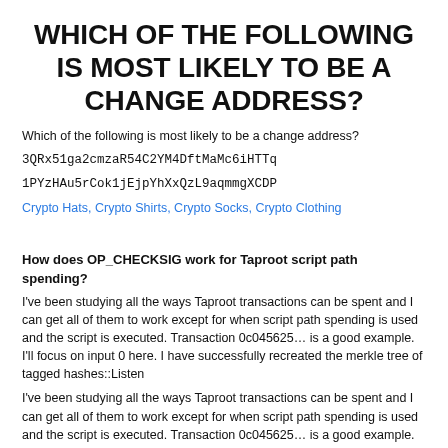WHICH OF THE FOLLOWING IS MOST LIKELY TO BE A CHANGE ADDRESS?
Which of the following is most likely to be a change address?
3QRx51ga2cmzaR54C2YM4DftMaMc6iHTTq
1PYzHAu5rCok1jEjpYhXxQzL9aqmmgXCDP
Crypto Hats, Crypto Shirts, Crypto Socks, Crypto Clothing
How does OP_CHECKSIG work for Taproot script path spending?
I've been studying all the ways Taproot transactions can be spent and I can get all of them to work except for when script path spending is used and the script is executed. Transaction 0c045625… is a good example. I'll focus on input 0 here. I have successfully recreated the merkle tree of tagged hashes::Listen
I've been studying all the ways Taproot transactions can be spent and I can get all of them to work except for when script path spending is used and the script is executed. Transaction 0c045625… is a good example. I'll focus on input 0 here.